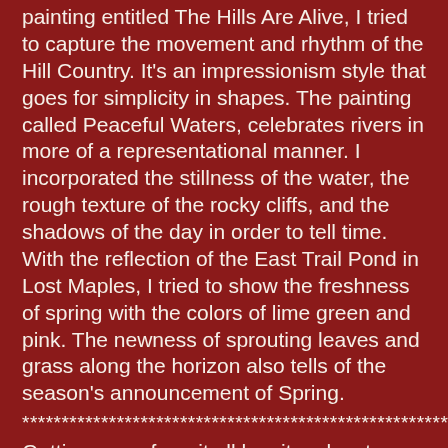painting entitled The Hills Are Alive, I tried to capture the movement and rhythm of the Hill Country. It's an impressionism style that goes for simplicity in shapes. The painting called Peaceful Waters, celebrates rivers in more of a representational manner. I incorporated the stillness of the water, the rough texture of the rocky cliffs, and the shadows of the day in order to tell time. With the reflection of the East Trail Pond in Lost Maples, I tried to show the freshness of spring with the colors of lime green and pink. The newness of sprouting leaves and grass along the horizon also tells of the season's announcement of Spring.
********************************************************
Getting away from it all has its advantages. I came back not only inspired by my closeness to nature, but I also enjoyed learning new things from being surrounded by other artists. It was all good! And as John Muir once expressed, "Everybody needs beauty as much as bread, places to play in, and pray in, where nature may heal and give strength to body and soul alike."
********************************************************
I hope our drought will end soon. Look for me doing an outdoor Irish jig in the backyard to celebrate the first rain of